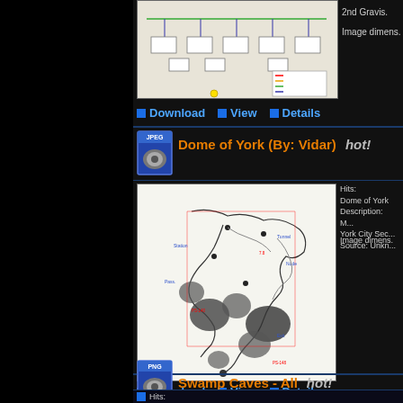[Figure (map): Top partial map/diagram image (cut off at top of page)]
2nd Gravis.
Image dimensions
Download   View   Details
[Figure (other): JPEG file icon]
Dome of York (By: Vidar)  hot!
Hits: Dome of York Description: M... York City Sec... Source: Unkn...
Image dimensions
[Figure (map): Cave map of Dome of York showing connected cave passages with annotations in black, grey and red on white background]
Download   View   Details
[Figure (other): PNG file icon]
Swamp Caves - All  hot!
Hits: